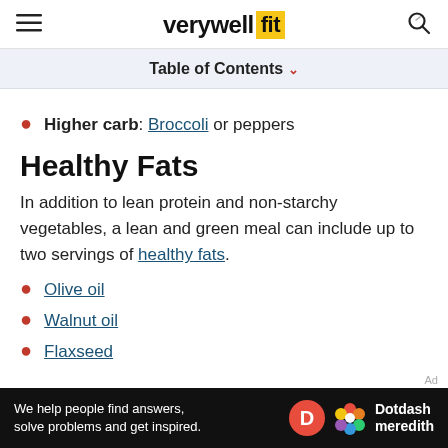verywell fit
Table of Contents
Higher carb: Broccoli or peppers
Healthy Fats
In addition to lean protein and non-starchy vegetables, a lean and green meal can include up to two servings of healthy fats.
Olive oil
Walnut oil
Flaxseed
[Figure (infographic): Dotdash Meredith advertisement banner at bottom: 'We help people find answers, solve problems and get inspired.' with D logo and colorful flower icon]